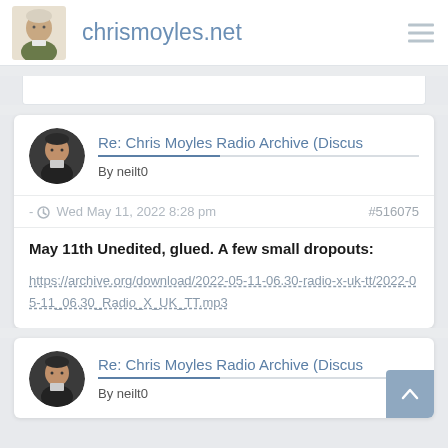chrismoyles.net
Re: Chris Moyles Radio Archive (Discus
By neilt0
- Wed May 11, 2022 8:28 pm  #516075
May 11th Unedited, glued. A few small dropouts:
https://archive.org/download/2022-05-11-06.30-radio-x-uk-tt/2022-05-11_06.30_Radio_X_UK_TT.mp3
Re: Chris Moyles Radio Archive (Discus
By neilt0